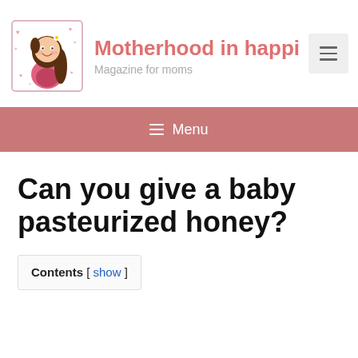Motherhood in happi… — Magazine for moms
[Figure (illustration): Cartoon illustration of a smiling pregnant woman with long brown hair, wearing a pink dress, surrounded by hearts and floral border]
≡ Menu
Can you give a baby pasteurized honey?
Contents [ show ]